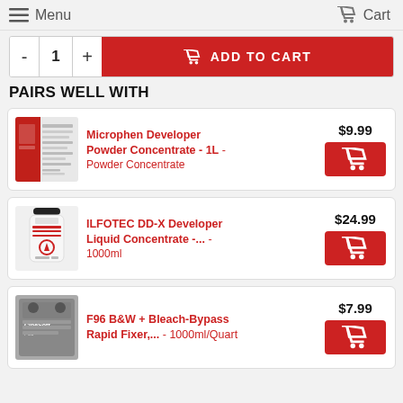Menu   Cart
- 1 +  ADD TO CART
PAIRS WELL WITH
[Figure (photo): Product image: Microphen Developer Powder Concentrate with red and white label]
Microphen Developer Powder Concentrate - 1L - Powder Concentrate   $9.99
[Figure (photo): Product image: ILFOTEC DD-X Developer white bottle with black cap]
ILFOTEC DD-X Developer Liquid Concentrate -... - 1000ml   $24.99
[Figure (photo): Product image: F96 B&W + Bleach-Bypass Rapid Fixer package]
F96 B&W + Bleach-Bypass Rapid Fixer,... - 1000ml/Quart   $7.99